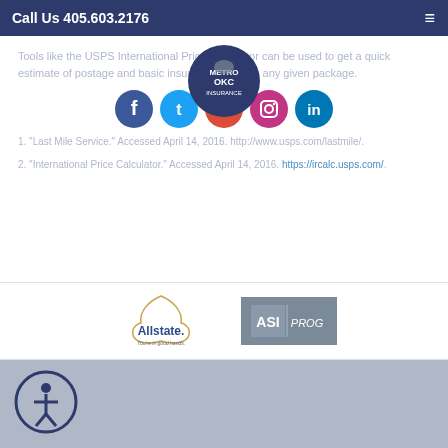Call Us 405.603.2176
Tools like the USPS International Price Calculator can be used to get a quick estimate of postage and basic insurance costs for any given package.
[Figure (logo): MetroOKC Insurance circular logo with bison icon]
[Figure (illustration): Social media icons: Facebook, Twitter, Google, Instagram, LinkedIn]
1. "Last Mile Service." Accessed April 14, 2016. http://www.usps.com/lastmile/.
2. "International Price Calculator." Accessed April 14, 2016. https://ircalc.usps.com/.
[Figure (logo): Allstate insurance logo with hands and tagline You're in good hands.]
[Figure (logo): ASI PROG insurance logo on gray background]
[Figure (illustration): Accessibility icon - person in circle]